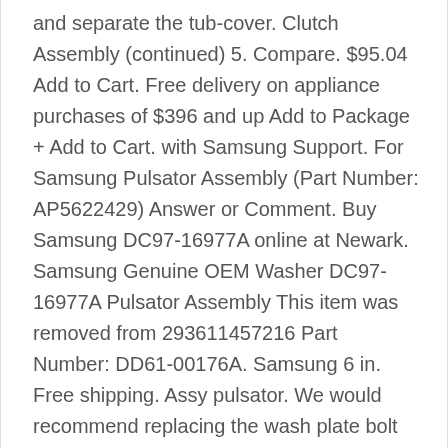and separate the tub-cover. Clutch Assembly (continued) 5. Compare. $95.04 Add to Cart. Free delivery on appliance purchases of $396 and up Add to Package + Add to Cart. with Samsung Support. For Samsung Pulsator Assembly (Part Number: AP5622429) Answer or Comment. Buy Samsung DC97-16977A online at Newark. Samsung Genuine OEM Washer DC97-16977A Pulsator Assembly This item was removed from 293611457216 Part Number: DD61-00176A. Samsung 6 in. Free shipping. Assy pulsator. We would recommend replacing the wash plate bolt PartSelect Number PS7794069, washer PartSelect Number PS3534424, nut PartSelect Number PS3522816, and 4040FA4045C. Clutch Assembly (continued) 3. Remove the bolt holding the pulsator with a 10mm wrench. A spouting port is formed at a central part of the upper p